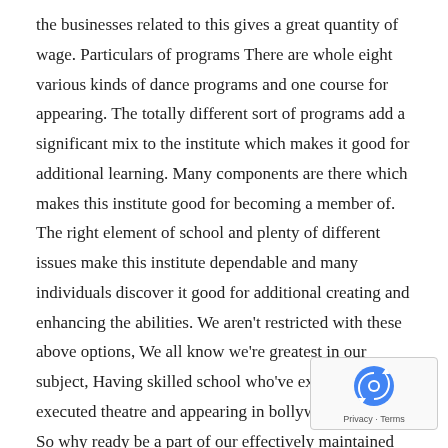the businesses related to this gives a great quantity of wage. Particulars of programs There are whole eight various kinds of dance programs and one course for appearing. The totally different sort of programs add a significant mix to the institute which makes it good for additional learning. Many components are there which makes this institute good for becoming a member of. The right element of school and plenty of different issues make this institute dependable and many individuals discover it good for additional creating and enhancing the abilities. We aren't restricted with these above options, We all know we're greatest in our subject, Having skilled school who've expert and have executed theatre and appearing in bollywood business. So why ready be a part of our effectively maintained infrastructure institute VIFM – Greatest Appearing College in Jaipur. For any question or
[Figure (logo): reCAPTCHA badge with logo and Privacy · Terms text]